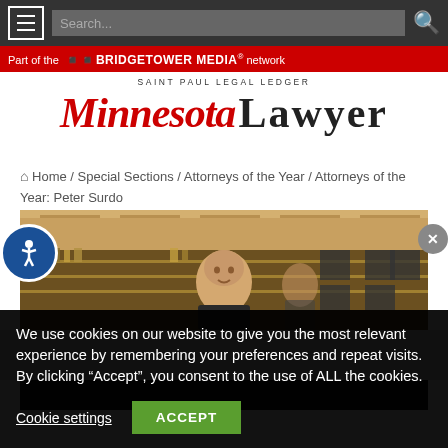[Figure (screenshot): Navigation bar with hamburger menu, search box, and search icon on dark gray background]
[Figure (logo): BridgeTower Media network red banner strip]
[Figure (logo): Minnesota Lawyer / Saint Paul Legal Ledger masthead logo]
Home / Special Sections / Attorneys of the Year / Attorneys of the Year: Peter Surdo
[Figure (photo): Photo of Peter Surdo standing in front of a bar/restaurant interior]
We use cookies on our website to give you the most relevant experience by remembering your preferences and repeat visits. By clicking “Accept”, you consent to the use of ALL the cookies.
Cookie settings
ACCEPT